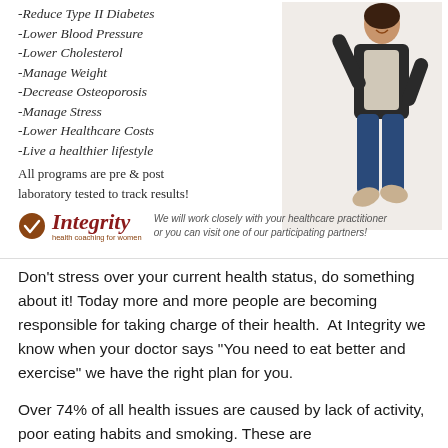-Reduce Type II Diabetes
-Lower Blood Pressure
-Lower Cholesterol
-Manage Weight
-Decrease Osteoporosis
-Manage Stress
-Lower Healthcare Costs
-Live a healthier lifestyle
All programs are pre & post laboratory tested to track results!
[Figure (photo): A woman in business casual attire jumping joyfully with one arm raised]
Integrity health coaching for women — We will work closely with your healthcare practitioner or you can visit one of our participating partners!
Don't stress over your current health status, do something about it! Today more and more people are becoming responsible for taking charge of their health.  At Integrity we know when your doctor says "You need to eat better and exercise" we have the right plan for you.
Over 74% of all health issues are caused by lack of activity, poor eating habits and smoking. These are